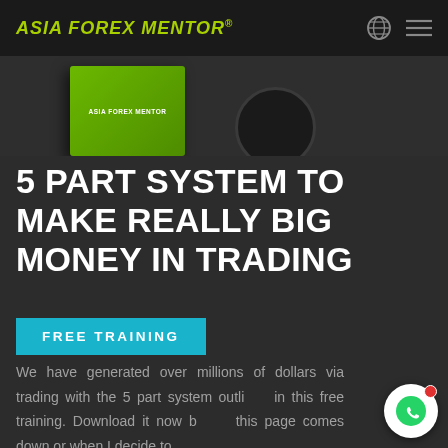ASIA FOREX MENTOR®
[Figure (photo): Product image showing Asia Forex Mentor book/box in green and a dark circular object (headphone/disc) partially visible on the right, against a dark background]
5 PART SYSTEM TO MAKE REALLY BIG MONEY IN TRADING
FREE TRAINING
We have generated over millions of dollars via trading with the 5 part system outlined in this free training. Download it now before this page comes down or when I decide to